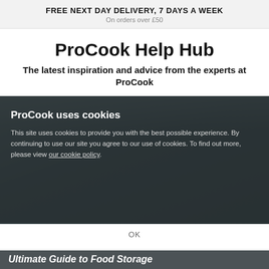FREE NEXT DAY DELIVERY, 7 DAYS A WEEK
On orders over £50
ProCook Help Hub
The latest inspiration and advice from the experts at ProCook
[Figure (screenshot): Cookie consent overlay on a dark kitchen background image. Overlay contains bold text 'ProCook uses cookies' followed by paragraph text about cookie policy with a link 'our cookie policy'. Below is an OK button. Partially visible behind the overlay is a kitchen scene. At the bottom, text reads 'Ultimate Guide to Food Storage'.]
ProCook uses cookies
This site uses cookies to provide you with the best possible experience. By continuing to use our site you agree to our use of cookies. To find out more, please view our cookie policy.
OK
Ultimate Guide to Food Storage